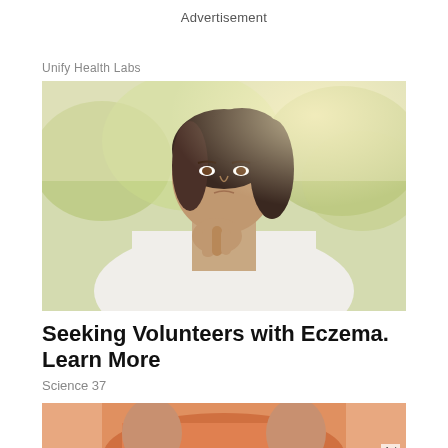Advertisement
Unify Health Labs
[Figure (photo): Young woman in white shirt scratching her neck/throat area outdoors with blurred green trees in background, looking uncomfortable]
Seeking Volunteers with Eczema. Learn More
Science 37
[Figure (photo): Partial view of person in orange/coral athletic wear, cropped advertisement image at bottom of page]
Ad